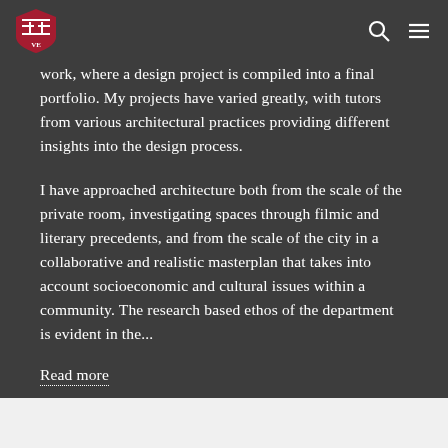Harvard shield logo, search icon, menu icon
work, where a design project is compiled into a final portfolio. My projects have varied greatly, with tutors from various architectural practices providing different insights into the design process.
I have approached architecture both from the scale of the private room, investigating spaces through filmic and literary precedents, and from the scale of the city in a collaborative and realistic masterplan that takes into account socioeconomic and cultural issues within a community. The research based ethos of the department is evident in the...
Read more